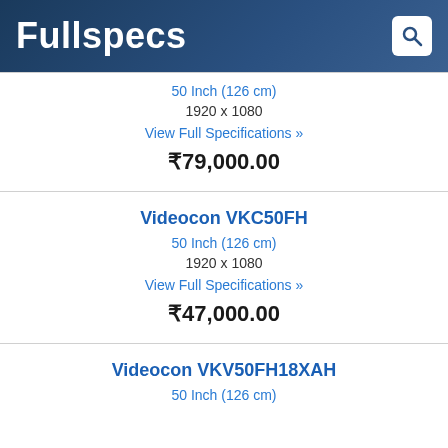Fullspecs
50 Inch (126 cm)
1920 x 1080
View Full Specifications »
₹79,000.00
Videocon VKC50FH
50 Inch (126 cm)
1920 x 1080
View Full Specifications »
₹47,000.00
Videocon VKV50FH18XAH
50 Inch (126 cm)